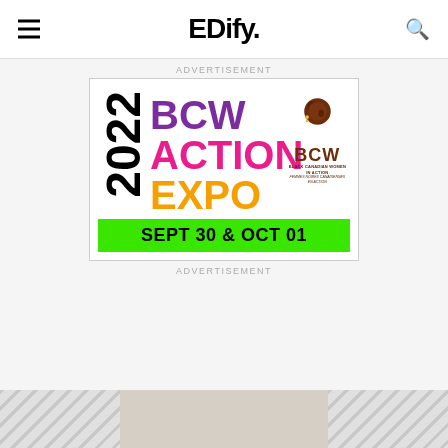EDify.
ADVERTISEMENT
[Figure (illustration): BCW Action Expo 2022 advertisement banner. Features large bold text: '2022 BCW ACTION EXPO' with BCW in purple, ACTION in pink/magenta, EXPO in yellow/orange, and '2022' in black vertical text. BCW (Black Canadian Women in Action) logo in top right. Green banner at bottom reads 'SEPT 30 & OCT 01' in large black bold text.]
ADVERTISEMENT
[Figure (photo): Partial bottom strip showing a three-panel preview image: left and right panels have diagonal wave/stripe pattern in grey, center panel shows a lighter beige/neutral background.]